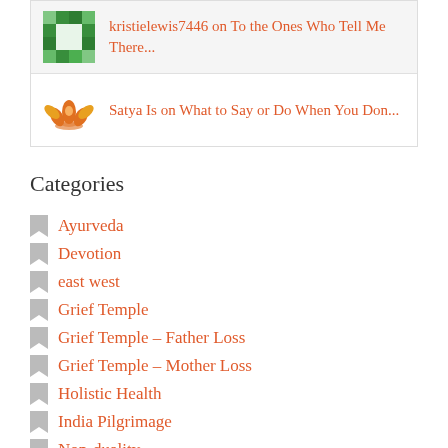kristielewis7446 on To the Ones Who Tell Me There...
Satya Is on What to Say or Do When You Don...
Categories
Ayurveda
Devotion
east west
Grief Temple
Grief Temple – Father Loss
Grief Temple – Mother Loss
Holistic Health
India Pilgrimage
Non-duality
Relationships